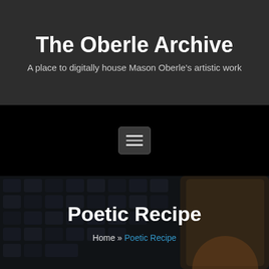The Oberle Archive
A place to digitally house Mason Oberle's artistic work
[Figure (screenshot): Hamburger/toggle menu button with three horizontal lines on dark background]
[Figure (photo): Dark background hero image showing keyboard keys and a phone/tablet device with orange tones, overlaid with page title and breadcrumb navigation]
Poetic Recipe
Home » Poetic Recipe